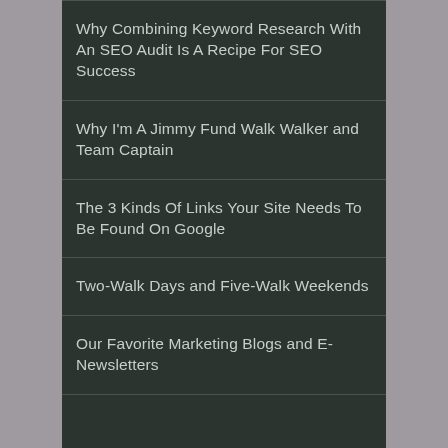Why Combining Keyword Research With An SEO Audit Is A Recipe For SEO Success
Why I'm A Jimmy Fund Walk Walker and Team Captain
The 3 Kinds Of Links Your Site Needs To Be Found On Google
Two-Walk Days and Five-Walk Weekends
Our Favorite Marketing Blogs and E-Newsletters